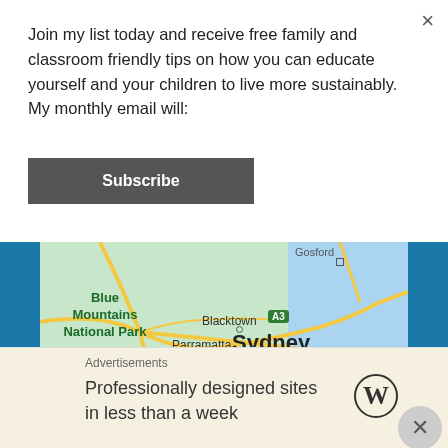Join my list today and receive free family and classroom friendly tips on how you can educate yourself and your children to live more sustainably. My monthly email will:
Subscribe
[Figure (map): Google Maps showing Sydney region including Blue Mountains National Park, Blacktown, Parramatta, Liverpool, and Sydney city, with road network and ocean to the east. Shows highway A3 and motorway M31 badges.]
Advertisements
Professionally designed sites in less than a week